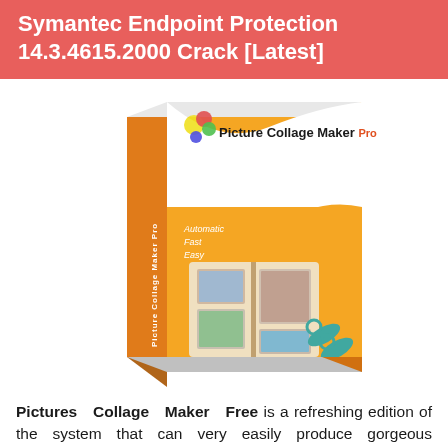Symantec Endpoint Protection 14.3.4615.2000 Crack [Latest]
[Figure (photo): Product box image for Picture Collage Maker Pro software, showing an orange and white box with a photo collage book and scissors graphic, labeled 'Automatic, Fast, Easy']
Pictures Collage Maker Free is a refreshing edition of the system that can very easily produce gorgeous attachments